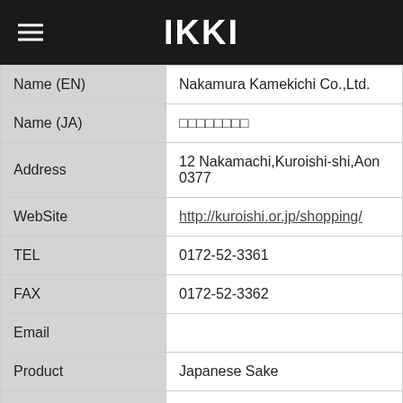IKKI
| Field | Value |
| --- | --- |
| Name (EN) | Nakamura Kamekichi Co.,Ltd. |
| Name (JA) | □□□□□□□□ |
| Address | 12 Nakamachi,Kuroishi-shi,Aon 0377 |
| WebSite | http://kuroishi.or.jp/shopping/ |
| TEL | 0172-52-3361 |
| FAX | 0172-52-3362 |
| Email |  |
| Product | Japanese Sake |
| Representative | Tamadare |